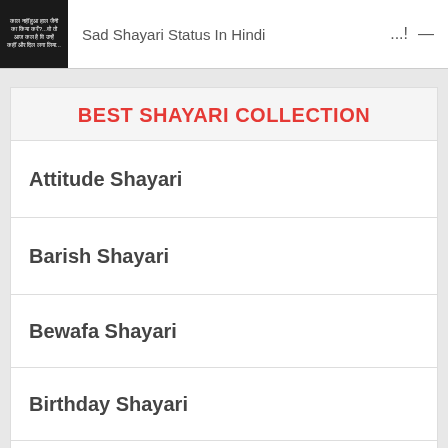Sad Shayari Status In Hindi
BEST SHAYARI COLLECTION
Attitude Shayari
Barish Shayari
Bewafa Shayari
Birthday Shayari
Bollywood Shayari
Broken Heart Shayari
Desh Bhakti Shayari